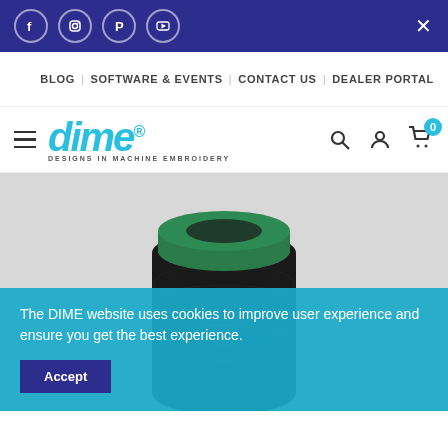[Figure (screenshot): Social media bar with Facebook, Instagram, Pinterest, YouTube icons on dark blue background with close button]
BLOG | SOFTWARE & EVENTS | CONTACT US | DEALER PORTAL
[Figure (logo): DIME - Designs in Machine Embroidery logo in teal/cyan with hamburger menu, search, account, and cart icons]
[Figure (photo): Black embroidery thread spool with green cap on light grey background]
The DIME website uses cookies to improve user experience and ensure you get the best experience.
Accept